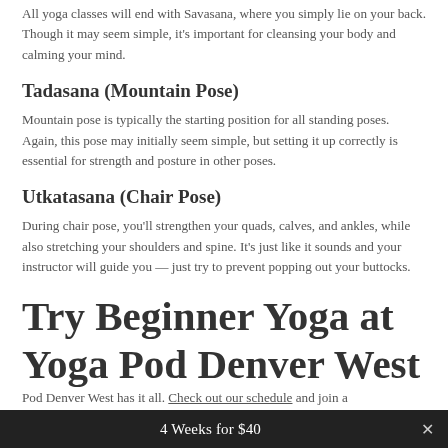All yoga classes will end with Savasana, where you simply lie on your back. Though it may seem simple, it's important for cleansing your body and calming your mind.
Tadasana (Mountain Pose)
Mountain pose is typically the starting position for all standing poses. Again, this pose may initially seem simple, but setting it up correctly is essential for strength and posture in other poses.
Utkatasana (Chair Pose)
During chair pose, you'll strengthen your quads, calves, and ankles, while also stretching your shoulders and spine. It's just like it sounds and your instructor will guide you — just try to prevent popping out your buttocks.
Try Beginner Yoga at Yoga Pod Denver West Today
4 Weeks for $40
Pod Denver West has it all. Check out our schedule and join a